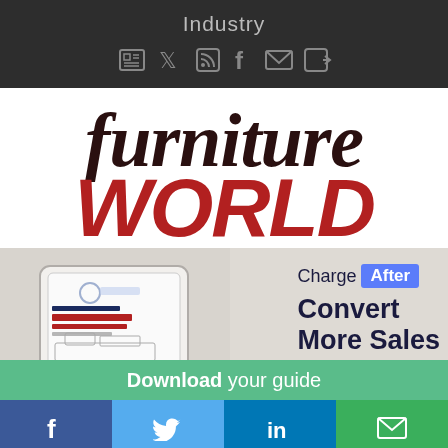Industry
[Figure (logo): Furniture World magazine logo with 'furniture' in dark serif italic and 'WORLD' in large bold red italic]
[Figure (illustration): ChargeAfter advertisement banner showing a tablet with 'Selling More Furniture' guide, text reads 'Charge After - Convert More Sales', with 'Download your guide' call-to-action on green bar below]
[Figure (infographic): Social sharing bar with Facebook, Twitter, LinkedIn, and email buttons]